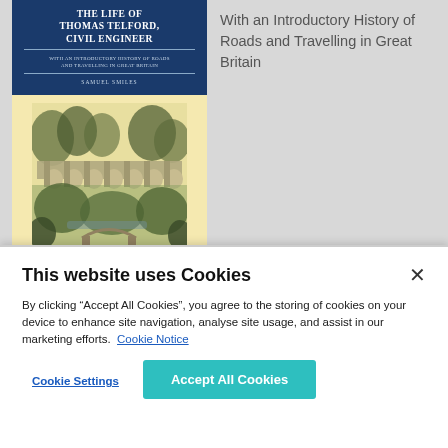[Figure (photo): Book cover of 'The Life of Thomas Telford, Civil Engineer' by Samuel Smiles with subtitle 'With an Introductory History of Roads and Travelling in Great Britain'. Dark blue header with white text, yellow background with an engraved illustration of a stone aqueduct/bridge over a wooded ravine. Cambridge University Press badge at bottom right.]
With an Introductory History of Roads and Travelling in Great Britain
This website uses Cookies
By clicking “Accept All Cookies”, you agree to the storing of cookies on your device to enhance site navigation, analyse site usage, and assist in our marketing efforts. Cookie Notice
Cookie Settings
Accept All Cookies